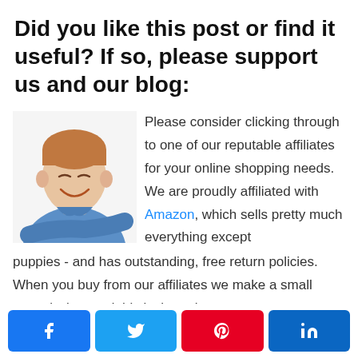Did you like this post or find it useful? If so, please support us and our blog:
[Figure (photo): Photo of a smiling middle-aged man in a blue shirt with arms crossed]
Please consider clicking through to one of our reputable affiliates for your online shopping needs. We are proudly affiliated with Amazon, which sells pretty much everything except puppies - and has outstanding, free return policies. When you buy from our affiliates we make a small commission, and this is the only way we earn some